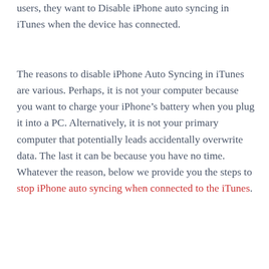users, they want to Disable iPhone auto syncing in iTunes when the device has connected.
The reasons to disable iPhone Auto Syncing in iTunes are various. Perhaps, it is not your computer because you want to charge your iPhone’s battery when you plug it into a PC. Alternatively, it is not your primary computer that potentially leads accidentally overwrite data. The last it can be because you have no time. Whatever the reason, below we provide you the steps to stop iPhone auto syncing when connected to the iTunes.